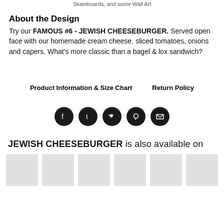Skateboards, and some Wall Art
About the Design
Try our FAMOUS #6 - JEWISH CHEESEBURGER. Served open face with our homemade cream cheese, sliced tomatoes, onions and capers. What's more classic than a bagel & lox sandwich?
Product Information & Size Chart   Return Policy
[Figure (infographic): Row of five circular social media icon buttons (Facebook, Tumblr, Twitter, Pinterest, Email) with dark/black background.]
JEWISH CHEESEBURGER is also available on
[Figure (photo): Row of six product thumbnail images (light gray placeholder boxes).]